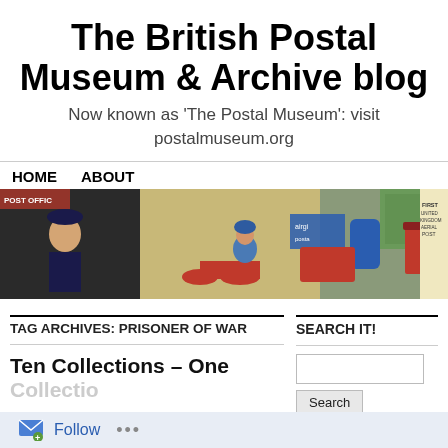The British Postal Museum & Archive blog
Now known as 'The Postal Museum': visit postalmuseum.org
HOME   ABOUT
[Figure (photo): Banner image showing a collage of postal-themed photos: a smiling woman in uniform, a person on a red motorcycle, a red post box, postal stamps, and a 'First United Kingdom Aerial Post' poster.]
TAG ARCHIVES: PRISONER OF WAR
SEARCH IT!
Ten Collections – One